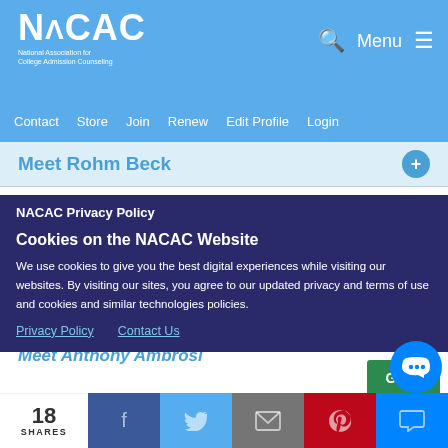NACAC - National Association for College Admission Counseling
Contact  Store  Join  Renew  Edit Profile  Login
Meet Rohm Beck
Meet Patty Montague
Meet Dawn Blanchard
Meet Myronee Simpson
Meet Anthony Ambrosi
NACAC Privacy Policy
Cookies on the NACAC Website
We use cookies to give you the best digital experiences while visiting our websites. By visiting our sites, you agree to our updated privacy and terms of use and cookies and similar technologies policies.
Privacy Policy   Contact Us
18 SHARES